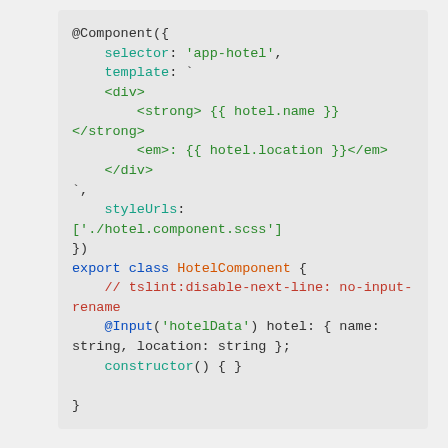[Figure (screenshot): Code screenshot showing an Angular @Component decorator with template, styleUrls, and a HotelComponent class with @Input decorator and constructor.]